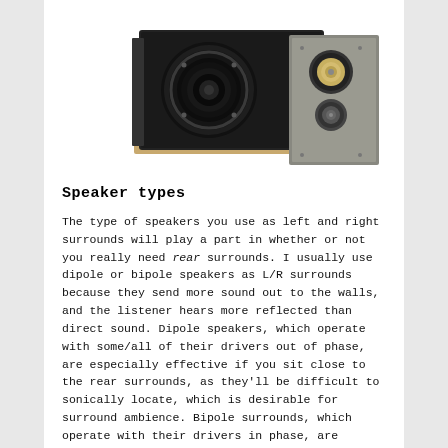[Figure (photo): Photo of a speaker system showing two speaker drivers - a large woofer and a smaller tweeter/midrange driver, in a dark enclosure with a wooden base]
Speaker types
The type of speakers you use as left and right surrounds will play a part in whether or not you really need rear surrounds. I usually use dipole or bipole speakers as L/R surrounds because they send more sound out to the walls, and the listener hears more reflected than direct sound. Dipole speakers, which operate with some/all of their drivers out of phase, are especially effective if you sit close to the rear surrounds, as they'll be difficult to sonically locate, which is desirable for surround ambience. Bipole surrounds, which operate with their drivers in phase, are designed to broaden the soundstage; when properly positioned, they do an effective job of filling in the rear surround channels. When I sit close to the rear wall, I find that placing the L/R surrounds in the room's back two corners and